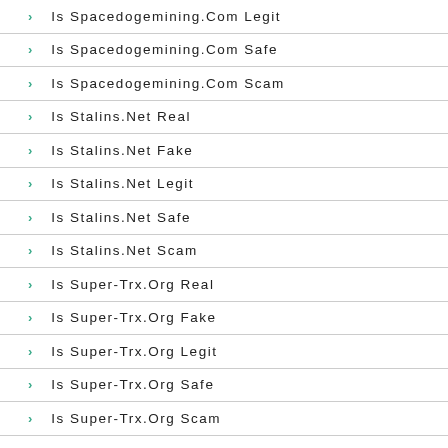Is Spacedogemining.Com Legit
Is Spacedogemining.Com Safe
Is Spacedogemining.Com Scam
Is Stalins.Net Real
Is Stalins.Net Fake
Is Stalins.Net Legit
Is Stalins.Net Safe
Is Stalins.Net Scam
Is Super-Trx.Org Real
Is Super-Trx.Org Fake
Is Super-Trx.Org Legit
Is Super-Trx.Org Safe
Is Super-Trx.Org Scam